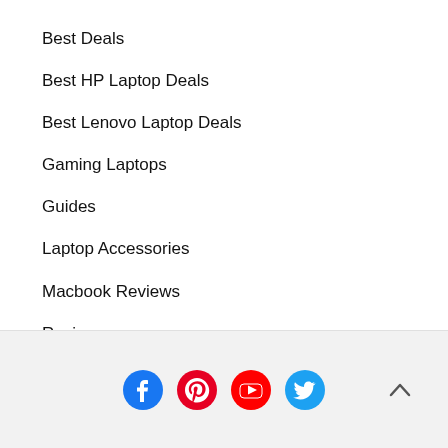Best Deals
Best HP Laptop Deals
Best Lenovo Laptop Deals
Gaming Laptops
Guides
Laptop Accessories
Macbook Reviews
Reviews
[Figure (other): Social media icons: Facebook, Pinterest, YouTube, Twitter, and a scroll-to-top chevron button]